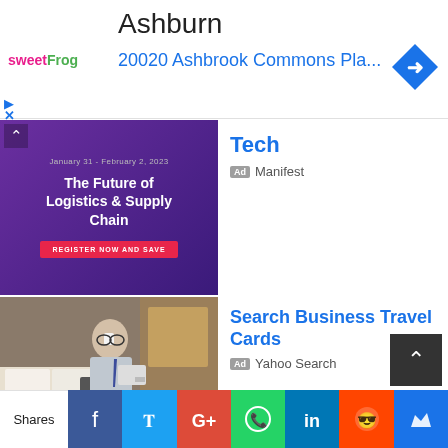Ashburn
[Figure (logo): sweetFrog logo in pink and green]
20020 Ashbrook Commons Pla...
[Figure (infographic): Blue diamond navigation/directions arrow icon]
[Figure (illustration): The Future of Logistics & Supply Chain - Register Now and Save, Jan 31 - Feb 2, 2023 ad banner in purple]
Tech
Ad  Manifest
[Figure (photo): Businessman in hotel room sipping coffee reading tablet]
Search Business Travel Cards
Ad  Yahoo Search
[Figure (illustration): Light blue background with partial cloud/heart illustration]
Special Introductory Offer
Ad  Liquid Web
Shares